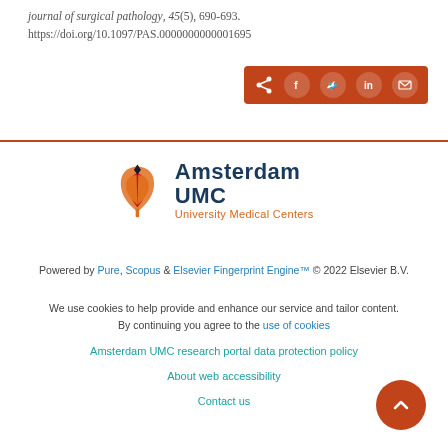journal of surgical pathology, 45(5), 690-693. https://doi.org/10.1097/PAS.0000000000001695
[Figure (other): Social share button bar with share, Facebook, Twitter, LinkedIn, and email icons on an orange/brown background]
[Figure (logo): Amsterdam UMC University Medical Centers logo with tulip icon in orange and red]
Powered by Pure, Scopus & Elsevier Fingerprint Engine™ © 2022 Elsevier B.V.
We use cookies to help provide and enhance our service and tailor content. By continuing you agree to the use of cookies
Amsterdam UMC research portal data protection policy
About web accessibility
Contact us